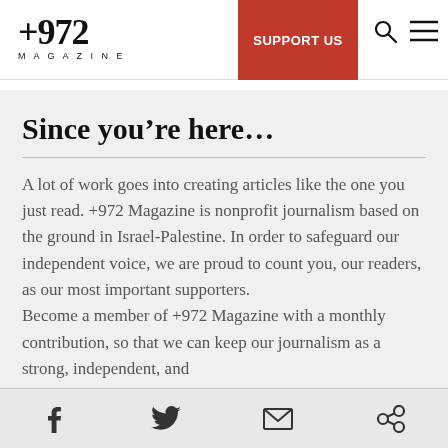+972 MAGAZINE | SUPPORT US
Since you’re here…
A lot of work goes into creating articles like the one you just read. +972 Magazine is nonprofit journalism based on the ground in Israel-Palestine. In order to safeguard our independent voice, we are proud to count you, our readers, as our most important supporters. Become a member of +972 Magazine with a monthly contribution, so that we can keep our journalism as a strong, independent, and
Share icons: Facebook, Twitter, Email, Link